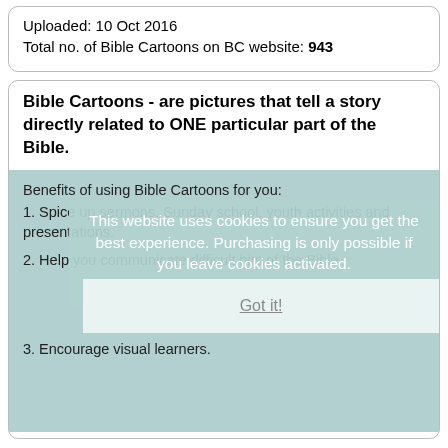Uploaded: 10 Oct 2016
Total no. of Bible Cartoons on BC website: 943
Bible Cartoons - are pictures that tell a story directly related to ONE particular part of the Bible.
Benefits of using Bible Cartoons for you:
This website uses cookies to ensure you get the best experience. Purchasing is only possible if you leave cookies activated.
Learn more
1. Spice up sermons, Sunday school, youth activities and presentations.
2. Help you communicate difficult bits of the Bible.
Got it!
3. Encourage visual learners.